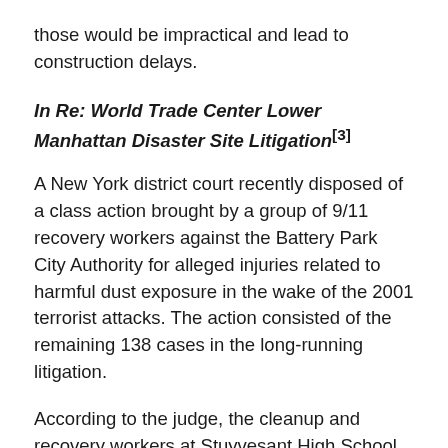those would be impractical and lead to construction delays.
In Re: World Trade Center Lower Manhattan Disaster Site Litigation[3]
A New York district court recently disposed of a class action brought by a group of 9/11 recovery workers against the Battery Park City Authority for alleged injuries related to harmful dust exposure in the wake of the 2001 terrorist attacks. The action consisted of the remaining 138 cases in the long-running litigation.
According to the judge, the cleanup and recovery workers at Stuyvesant High School in lower Manhattan were would be assisting in